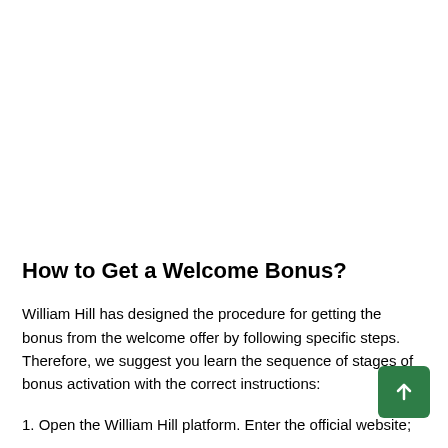How to Get a Welcome Bonus?
William Hill has designed the procedure for getting the bonus from the welcome offer by following specific steps. Therefore, we suggest you learn the sequence of stages of bonus activation with the correct instructions:
1. Open the William Hill platform. Enter the official website;
2. Create a new account. Launch registration;